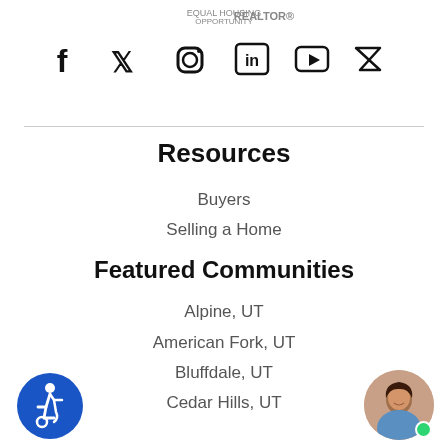[Figure (logo): Realtor association logo at top center]
[Figure (infographic): Social media icons: Facebook, Twitter, Instagram, LinkedIn, YouTube, Zillow]
Resources
Buyers
Selling a Home
Featured Communities
Alpine, UT
American Fork, UT
Bluffdale, UT
Cedar Hills, UT
Draper, UT
Eagle Mountain, UT
Highland, UT
Lehi, UT
[Figure (illustration): Accessibility icon — blue circle with wheelchair user]
[Figure (photo): Agent headshot photo in circular frame with green dot]